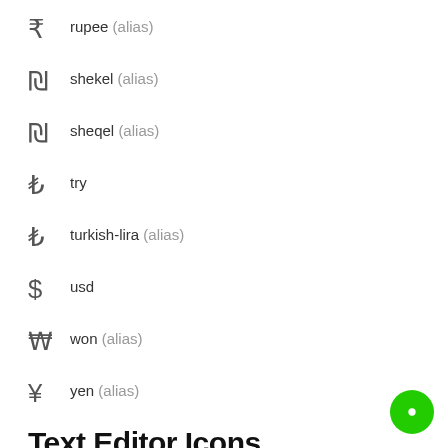₹ rupee (alias)
₪ shekel (alias)
₪ sheqel (alias)
₺ try
₺ turkish-lira (alias)
$ usd
₩ won (alias)
¥ yen (alias)
Text Editor Icons
align-center
align-justify
align-left
align-right